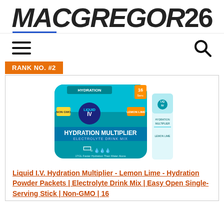MACGREGOR26
[Figure (logo): MACGREGOR26 logo in bold italic black text with blue underline accent]
[Figure (illustration): Navigation bar with hamburger menu icon on the left and search magnifying glass icon on the right]
RANK NO. #2
[Figure (photo): Liquid I.V. Hydration Multiplier product - blue pouch and single-serve stick packet in teal/white colors]
Liquid I.V. Hydration Multiplier - Lemon Lime - Hydration Powder Packets | Electrolyte Drink Mix | Easy Open Single-Serving Stick | Non-GMO | 16